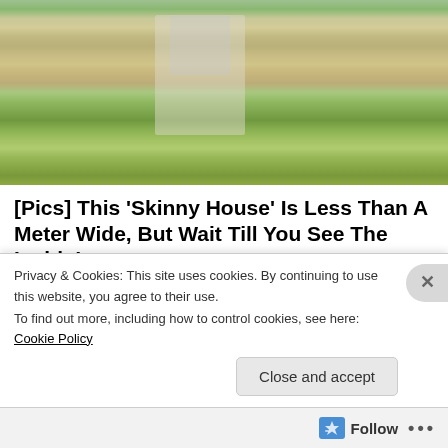[Figure (photo): Exterior photo of a suburban house with beige siding, green lawn, trees, and a front walkway]
[Pics] This 'Skinny House' Is Less Than A Meter Wide, But Wait Till You See The Inside!
BuzzFond
[Figure (photo): Photo of Robert Redford and a woman smiling together, used as thumbnail for related article]
[Photos] At 85, Robert Redford Lives In This Modest House With His Partner
TheDecorIdeas
Privacy & Cookies: This site uses cookies. By continuing to use this website, you agree to their use.
To find out more, including how to control cookies, see here: Cookie Policy
Close and accept
Follow ...